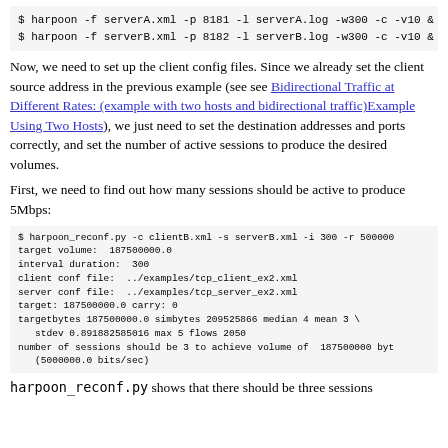$ harpoon -f serverA.xml -p 8181 -l serverA.log -w300 -c -v10 &
$ harpoon -f serverB.xml -p 8182 -l serverB.log -w300 -c -v10 &
Now, we need to set up the client config files. Since we already set the client source address in the previous example (see see Bidirectional Traffic at Different Rates: (example with two hosts and bidirectional traffic)Example Using Two Hosts), we just need to set the destination addresses and ports correctly, and set the number of active sessions to produce the desired volumes.
First, we need to find out how many sessions should be active to produce 5Mbps:
$ harpoon_reconf.py -c clientB.xml -s serverB.xml -i 300 -r 500000
target volume:  187500000.0
interval duration:  300
client conf file:  ../examples/tcp_client_ex2.xml
server conf file:  ../examples/tcp_server_ex2.xml
target: 187500000.0 carry: 0
targetbytes 187500000.0 simbytes 209525866 median 4 mean 3 \
   stdev 0.891882585016 max 5 flows 2050
number of sessions should be 3 to achieve volume of  187500000 byt
   (5000000.0 bits/sec)
harpoon_reconf.py shows that there should be three sessions